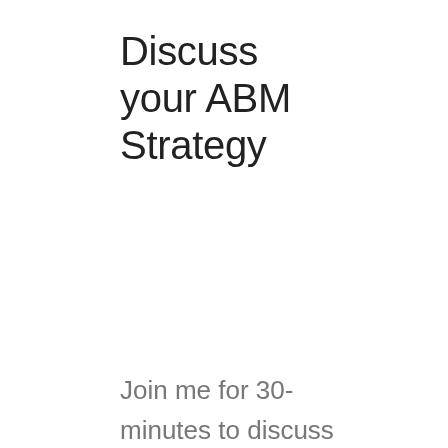Discuss your ABM Strategy
Join me for 30-minutes to discuss your approach to ABM, the challenges you face and see if we can help you get your